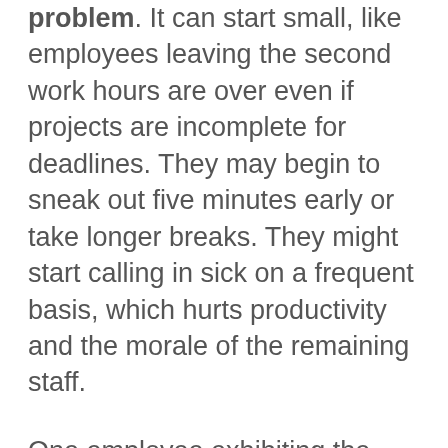problem. It can start small, like employees leaving the second work hours are over even if projects are incomplete for deadlines. They may begin to sneak out five minutes early or take longer breaks. They might start calling in sick on a frequent basis, which hurts productivity and the morale of the remaining staff.
One employee exhibiting the above signs may be indicative of a problem with that particular individual. However, if employers notice numerous